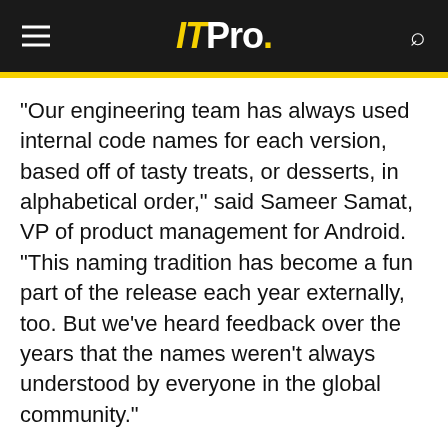ITPro.
"Our engineering team has always used internal code names for each version, based off of tasty treats, or desserts, in alphabetical order," said Sameer Samat, VP of product management for Android. "This naming tradition has become a fun part of the release each year externally, too. But we've heard feedback over the years that the names weren't always understood by everyone in the global community."
Samat gave an example of where developers in other countries or cultures could find the naming scheme difficult, pointing out that 'L' and 'R' are not distinguishable in some languages, and therefore